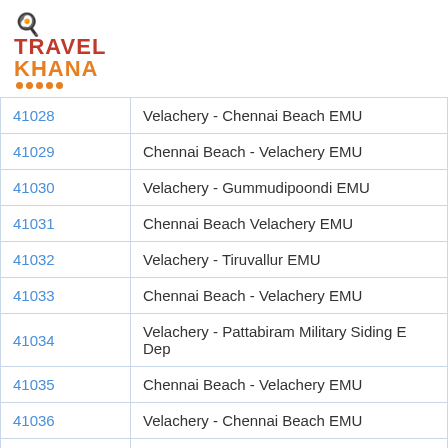[Figure (logo): TravelKhana logo with chef hat icon, TRAVEL in red and KHANA in orange with orange dots underline]
| 41028 | Velachery - Chennai Beach EMU |
| 41029 | Chennai Beach - Velachery EMU |
| 41030 | Velachery - Gummudipoondi EMU |
| 41031 | Chennai Beach Velachery EMU |
| 41032 | Velachery - Tiruvallur EMU |
| 41033 | Chennai Beach - Velachery EMU |
| 41034 | Velachery - Pattabiram Military Siding E Dep |
| 41035 | Chennai Beach - Velachery EMU |
| 41036 | Velachery - Chennai Beach EMU |
| 41037 | Chennai Beach Velachery Ladies Special |